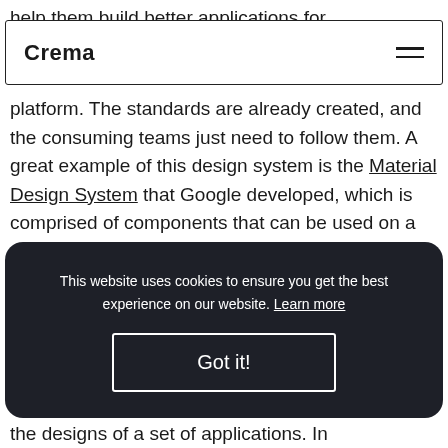help them build better applications for
Crema
platform. The standards are already created, and the consuming teams just need to follow them. A great example of this design system is the Material Design System that Google developed, which is comprised of components that can be used on a mobile android application.
This website uses cookies to ensure you get the best experience on our website. Learn more
Got it!
the designs of a set of applications. In